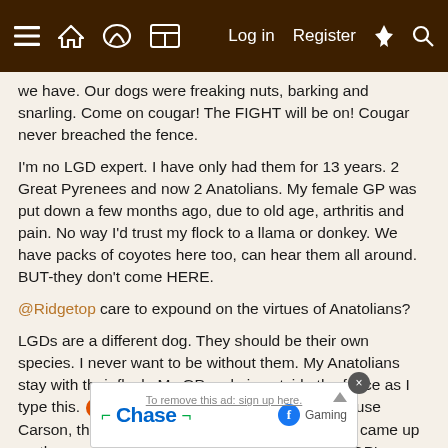Navigation bar with menu, home, chat, grid, Log in, Register, lightning, search icons
we have. Our dogs were freaking nuts, barking and snarling. Come on cougar! The FIGHT will be on! Cougar never breached the fence.

I'm no LGD expert. I have only had them for 13 years. 2 Great Pyrenees and now 2 Anatolians. My female GP was put down a few months ago, due to old age, arthritis and pain. No way I'd trust my flock to a llama or donkey. We have packs of coyotes here too, can hear them all around. BUT-they don't come HERE.

@Ridgetop care to expound on the virtues of Anatolians?

LGDs are a different dog. They should be their own species. I never want to be without them. My Anatolians stay with their flock. My GP male is outside the fence as I type this. 🍊🎮😵 How do I know? Because Carson, the big black Great Dane/Labrador cross came up on the porch and told me so. I can't keep him in. GP's roam. If their feet are on it, it is theirs. If they see it, it is theirs-and they wa... My fema... mazing
[Figure (screenshot): Chase advertisement banner with Gaming Facebook badge and close button, overlaying 'To remove this ad: sign up here' text]